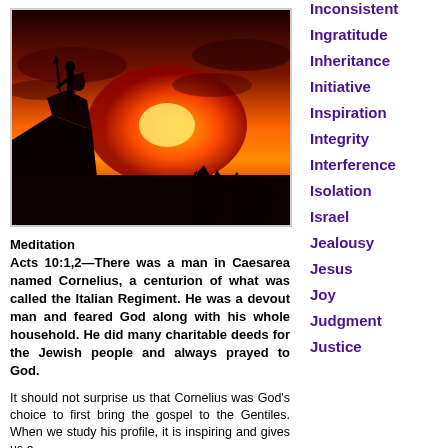[Figure (photo): Silhouette of a warrior holding a spear and shield standing on a cliff edge against a dramatic orange and red sunset sky with trees in the background]
Meditation
Acts 10:1,2—There was a man in Caesarea named Cornelius, a centurion of what was called the Italian Regiment. He was a devout man and feared God along with his whole household. He did many charitable deeds for the Jewish people and always prayed to God.
It should not surprise us that Cornelius was God's choice to first bring the gospel to the Gentiles. When we study his profile, it is inspiring and gives us a
Inconsistent
Ingratitude
Inheritance
Initiative
Inspiration
Integrity
Interference
Isolation
Israel
Jealousy
Jesus
Joy
Judgment
Justice